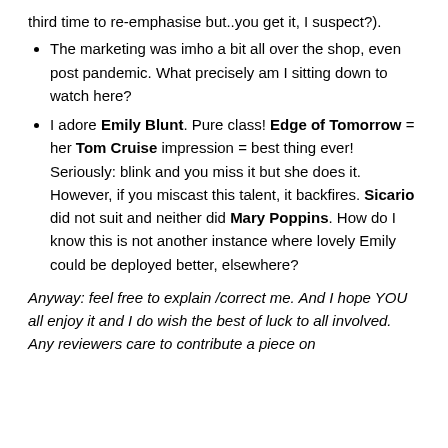third time to re-emphasise but..you get it, I suspect?).
The marketing was imho a bit all over the shop, even post pandemic. What precisely am I sitting down to watch here?
I adore Emily Blunt. Pure class! Edge of Tomorrow = her Tom Cruise impression = best thing ever! Seriously: blink and you miss it but she does it. However, if you miscast this talent, it backfires. Sicario did not suit and neither did Mary Poppins. How do I know this is not another instance where lovely Emily could be deployed better, elsewhere?
Anyway: feel free to explain /correct me. And I hope YOU all enjoy it and I do wish the best of luck to all involved. Any reviewers care to contribute a piece on